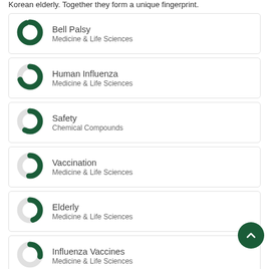Korean elderly. Together they form a unique fingerprint.
Bell Palsy · Medicine & Life Sciences
Human Influenza · Medicine & Life Sciences
Safety · Chemical Compounds
Vaccination · Medicine & Life Sciences
Elderly · Medicine & Life Sciences
Influenza Vaccines · Medicine & Life Sciences